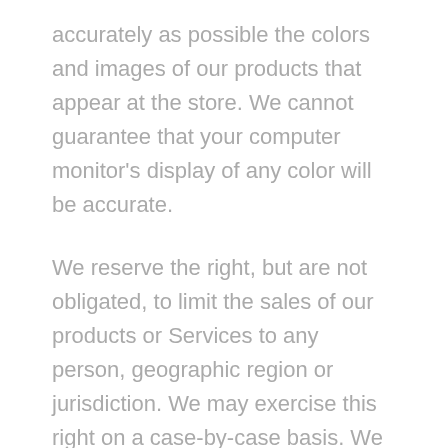accurately as possible the colors and images of our products that appear at the store. We cannot guarantee that your computer monitor's display of any color will be accurate.
We reserve the right, but are not obligated, to limit the sales of our products or Services to any person, geographic region or jurisdiction. We may exercise this right on a case-by-case basis. We reserve the right to limit the quantities of any products or services that we offer. All descriptions of products or product pricing are subject to change at anytime without notice, at the sole discretion of us. We reserve the right to